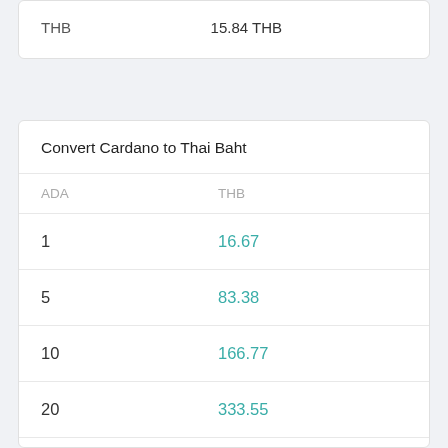|  |  |
| --- | --- |
| THB | 15.84 THB |
Convert Cardano to Thai Baht
| ADA | THB |
| --- | --- |
| 1 | 16.67 |
| 5 | 83.38 |
| 10 | 166.77 |
| 20 | 333.55 |
| 50 | 833.87 |